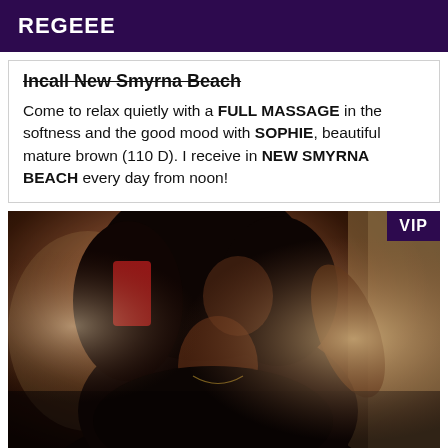REGEEE
Incall New Smyrna Beach
Come to relax quietly with a FULL MASSAGE in the softness and the good mood with SOPHIE, beautiful mature brown (110 D). I receive in NEW SMYRNA BEACH every day from noon!
[Figure (photo): A woman with curly dark hair taking a mirror selfie, wearing a black outfit, with a VIP badge in the top right corner.]